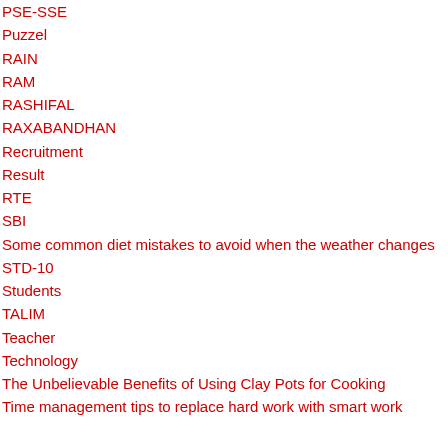PSE-SSE
Puzzel
RAIN
RAM
RASHIFAL
RAXABANDHAN
Recruitment
Result
RTE
SBI
Some common diet mistakes to avoid when the weather changes
STD-10
Students
TALIM
Teacher
Technology
The Unbelievable Benefits of Using Clay Pots for Cooking
Time management tips to replace hard work with smart work